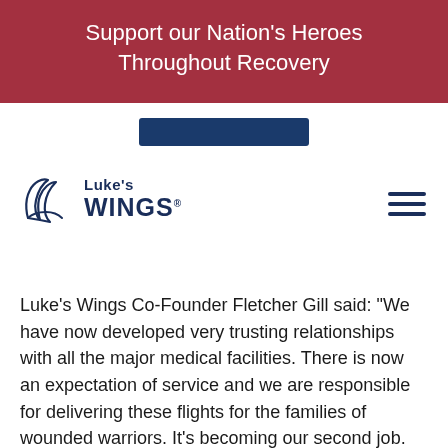Support our Nation's Heroes Throughout Recovery
[Figure (logo): Luke's Wings logo with wing icon and text 'Luke's WINGS']
Luke's Wings Co-Founder Fletcher Gill said: “We have now developed very trusting relationships with all the major medical facilities. There is now an expectation of service and we are responsible for delivering these flights for the families of wounded warriors. It’s becoming our second job. We are honored to do everything we can to raise the funds and book the flights. Every dollar counts and is